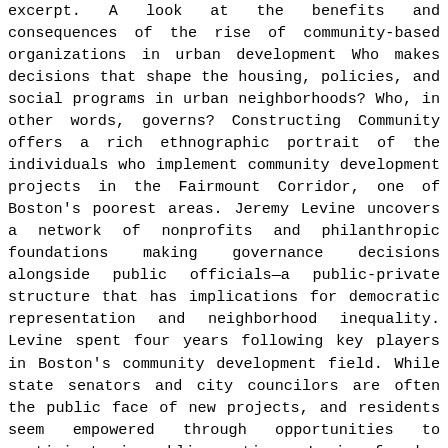excerpt. A look at the benefits and consequences of the rise of community-based organizations in urban development Who makes decisions that shape the housing, policies, and social programs in urban neighborhoods? Who, in other words, governs? Constructing Community offers a rich ethnographic portrait of the individuals who implement community development projects in the Fairmount Corridor, one of Boston's poorest areas. Jeremy Levine uncovers a network of nonprofits and philanthropic foundations making governance decisions alongside public officials—a public-private structure that has implications for democratic representation and neighborhood inequality. Levine spent four years following key players in Boston's community development field. While state senators and city councilors are often the public face of new projects, and residents seem empowered through opportunities to participate in public meetings, Levine found a shadow government of nonprofit leaders and philanthropic funders, nonelected neighborhood